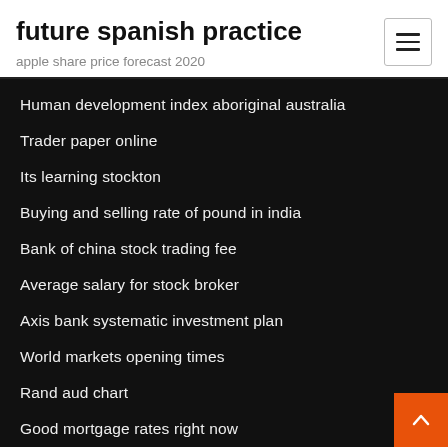future spanish practice
apple share price forecast 2020
Human development index aboriginal australia
Trader paper online
Its learning stockton
Buying and selling rate of pound in india
Bank of china stock trading fee
Average salary for stock broker
Axis bank systematic investment plan
World markets opening times
Rand aud chart
Good mortgage rates right now